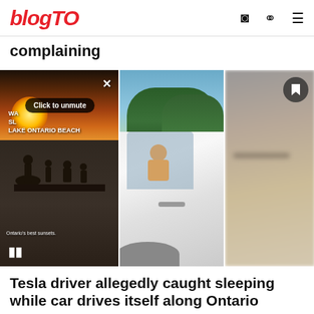blogTO
complaining
[Figure (screenshot): Three panel image strip: left panel shows a Lake Ontario beach sunset video with 'Click to unmute' overlay and text 'WA... SL... LAKE ONTARIO BEACH' and caption 'Ontario's best sunsets.' with pause button; middle panel shows a white Tesla car from the side with a person visible through the window; right panel shows a blurred close-up of what appears to be the car with a bookmark button.]
Tesla driver allegedly caught sleeping while car drives itself along Ontario